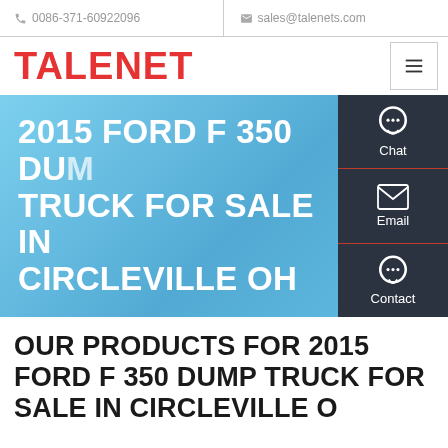📞 0086-371-60922096   ✉ sales@talenets.com
TALENET
[Figure (screenshot): Hero banner with blue gradient background showing the page title '2015 FORD F 350 DUMP TRUCK FOR SALE IN CIRCLEVILLE OH' in white bold text, with a dark sidebar panel on the right showing Chat, Email, and Contact icons]
OUR PRODUCTS FOR 2015 FORD F 350 DUMP TRUCK FOR SALE IN CIRCLEVILLE OH